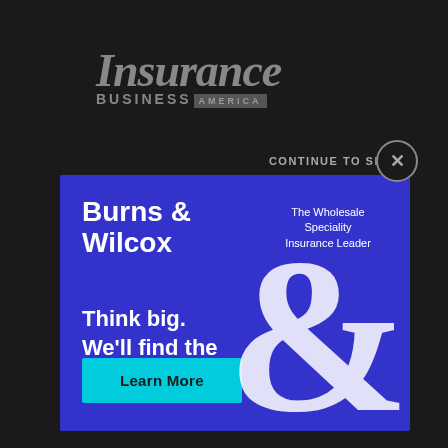[Figure (logo): Insurance Business America logo in grey on dark background]
CONTINUE TO SITE
[Figure (infographic): Burns & Wilcox advertisement banner on blue background. Text: 'Burns & Wilcox', 'The Wholesale Speciality Insurance Leader', 'Think big. We'll find the coverage to fit.', 'Learn More' button, large ampersand graphic.]